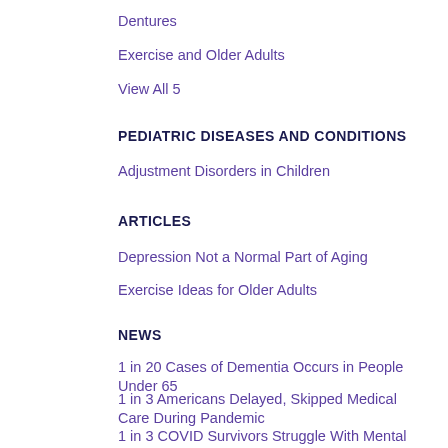Dentures
Exercise and Older Adults
View All 5
PEDIATRIC DISEASES AND CONDITIONS
Adjustment Disorders in Children
ARTICLES
Depression Not a Normal Part of Aging
Exercise Ideas for Older Adults
NEWS
1 in 20 Cases of Dementia Occurs in People Under 65
1 in 3 Americans Delayed, Skipped Medical Care During Pandemic
1 in 3 COVID Survivors Struggle With Mental Health Issues Months Later